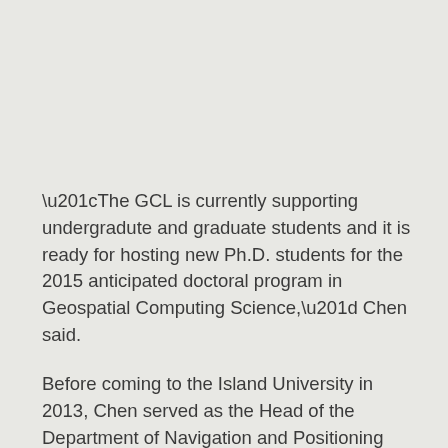“The GCL is currently supporting undergradute and graduate students and it is ready for hosting new Ph.D. students for the 2015 anticipated doctoral program in Geospatial Computing Science,” Chen said.
Before coming to the Island University in 2013, Chen served as the Head of the Department of Navigation and Positioning from the Finnish Geodetic Institute. He has also worked in engineering, research, and app development, with a on 3D city model apps for Android phones and has appeared in “GPS Worlds”. Chen has more than 30 publications including his